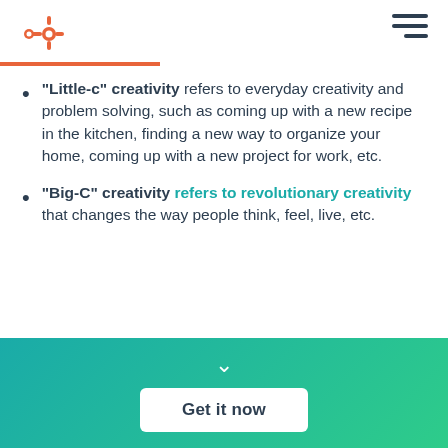HubSpot logo and navigation
“Little-c” creativity refers to everyday creativity and problem solving, such as coming up with a new recipe in the kitchen, finding a new way to organize your home, coming up with a new project for work, etc.
“Big-C” creativity refers to revolutionary creativity that changes the way people think, feel, live, etc.
[Figure (other): Teal to green gradient footer banner with a white chevron down arrow and a white 'Get it now' button]